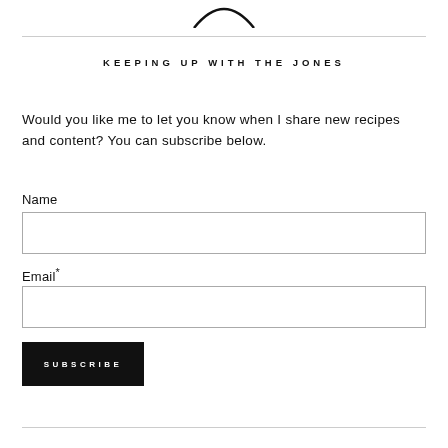[Figure (logo): Partial arc/smile logo graphic at top center of page]
KEEPING UP WITH THE JONES
Would you like me to let you know when I share new recipes and content? You can subscribe below.
Name
Email*
SUBSCRIBE